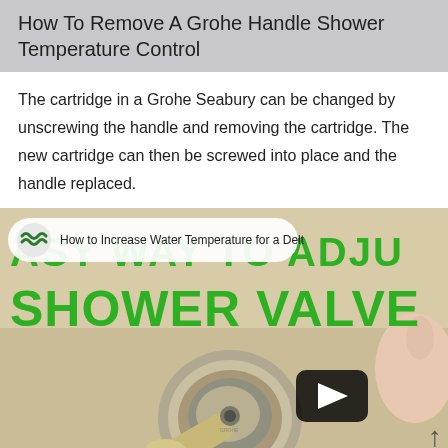How To Remove A Grohe Handle Shower Temperature Control
The cartridge in a Grohe Seabury can be changed by unscrewing the handle and removing the cartridge. The new cartridge can then be screwed into place and the handle replaced.
[Figure (screenshot): YouTube video thumbnail showing 'EASY WAY TO ADJU... SHOWER VALVE' text in green on a background image of a shower valve. Includes a channel icon and title 'How to Increase Water Temperature for a Delt' and a play button overlay.]